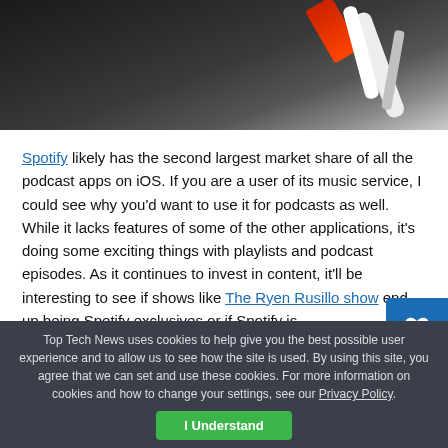[Figure (photo): Close-up photo of earphones/headphones with cables against a dark background, with a red object in the upper area.]
Spotify likely has the second largest market share of all the podcast apps on iOS. If you are a user of its music service, I could see why you'd want to use it for podcasts as well. While it lacks features of some of the other applications, it's doing some exciting things with playlists and podcast episodes. As it continues to invest in content, it'll be interesting to see if shows like The Ryen Rusillo show end up being Spotify exclusives or if Spotify is
Top Tech News uses cookies to help give you the best possible user experience and to allow us to see how the site is used. By using this site, you agree that we can set and use these cookies. For more information on cookies and how to change your settings, see our Privacy Policy.
I Understand